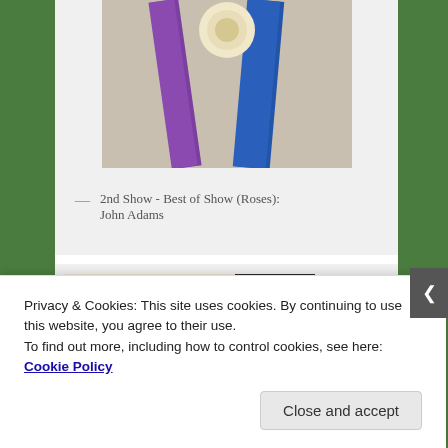[Figure (photo): Photo of award ribbons - purple and blue ribbons with a rosette, partial crop at top]
— 2nd Show - Best of Show (Roses): John Adams
[Figure (photo): Photo of a smiling woman with grey curly hair and glasses standing next to large red tropical leaves (caladium plants)]
Privacy & Cookies: This site uses cookies. By continuing to use this website, you agree to their use.
To find out more, including how to control cookies, see here: Cookie Policy
Close and accept